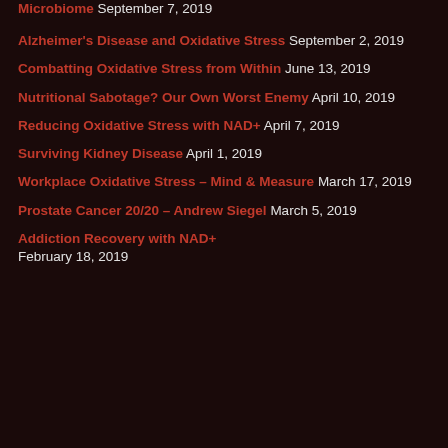Microbiome September 7, 2019
Alzheimer's Disease and Oxidative Stress September 2, 2019
Combatting Oxidative Stress from Within June 13, 2019
Nutritional Sabotage? Our Own Worst Enemy April 10, 2019
Reducing Oxidative Stress with NAD+ April 7, 2019
Surviving Kidney Disease April 1, 2019
Workplace Oxidative Stress – Mind & Measure March 17, 2019
Prostate Cancer 20/20 – Andrew Siegel March 5, 2019
Addiction Recovery with NAD+ February 18, 2019